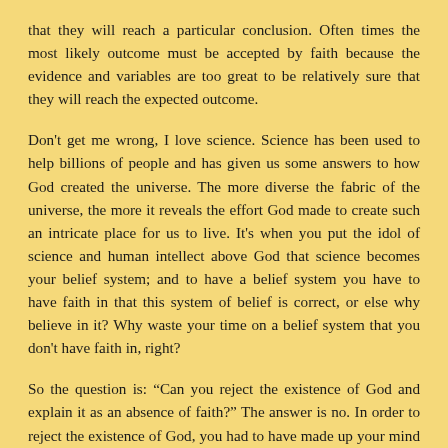that they will reach a particular conclusion. Often times the most likely outcome must be accepted by faith because the evidence and variables are too great to be relatively sure that they will reach the expected outcome.
Don't get me wrong, I love science. Science has been used to help billions of people and has given us some answers to how God created the universe. The more diverse the fabric of the universe, the more it reveals the effort God made to create such an intricate place for us to live. It's when you put the idol of science and human intellect above God that science becomes your belief system; and to have a belief system you have to have faith in that this system of belief is correct, or else why believe in it? Why waste your time on a belief system that you don't have faith in, right?
So the question is: “Can you reject the existence of God and explain it as an absence of faith?” The answer is no. In order to reject the existence of God, you had to have made up your mind that there is another explanation for the existence of everything in the universe; an explanation you need to have faith in.